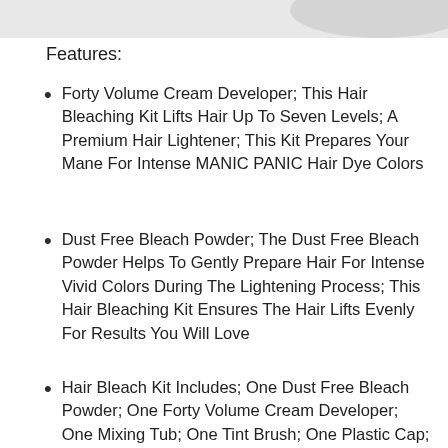[Figure (photo): Partial product image visible at top of page]
Features:
Forty Volume Cream Developer; This Hair Bleaching Kit Lifts Hair Up To Seven Levels; A Premium Hair Lightener; This Kit Prepares Your Mane For Intense MANIC PANIC Hair Dye Colors
Dust Free Bleach Powder; The Dust Free Bleach Powder Helps To Gently Prepare Hair For Intense Vivid Colors During The Lightening Process; This Hair Bleaching Kit Ensures The Hair Lifts Evenly For Results You Will Love
Hair Bleach Kit Includes; One Dust Free Bleach Powder; One Forty Volume Cream Developer; One Mixing Tub; One Tint Brush; One Plastic Cap; One Set Of Plastic Gloves And Instructions For Use; Please Note That Gloves And Cap Are Inside The Mixing Tub